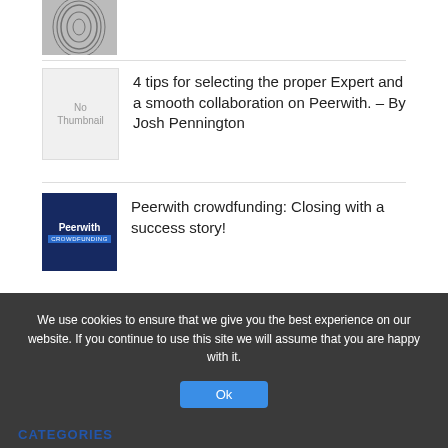[Figure (photo): Partial fingerprint or textured image thumbnail at top of list]
4 tips for selecting the proper Expert and a smooth collaboration on Peerwith. – By Josh Pennington
Peerwith crowdfunding: Closing with a success story!
Welcome Liesbeth Aerts
We use cookies to ensure that we give you the best experience on our website. If you continue to use this site we will assume that you are happy with it.
CATEGORIES